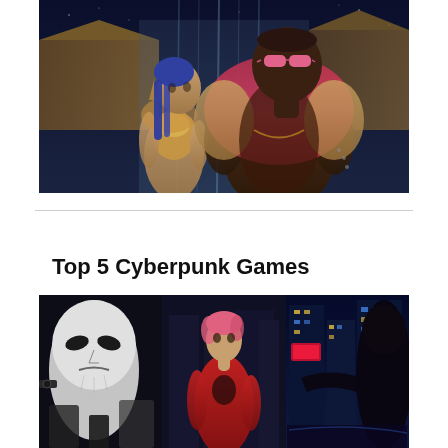[Figure (photo): Cyberpunk-styled characters: a woman with blue braided hair in a gold outfit and a tall man in a fur-collared coat with pink sunglasses, standing in front of a waterfall at night]
Top 5 Cyberpunk Games
[Figure (photo): Cyberpunk game screenshot collage: a masked face on the left, a woman in a red suit with pink hair in the center, and a futuristic city skyline on the right]